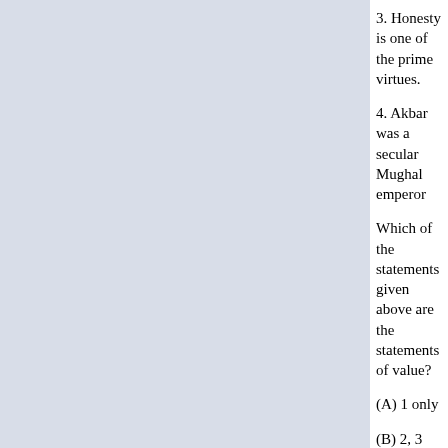3. Honesty is one of the prime virtues.
4. Akbar was a secular Mughal emperor
Which of the statements given above are the statements of value?
(A) 1 only
(B) 2, 3